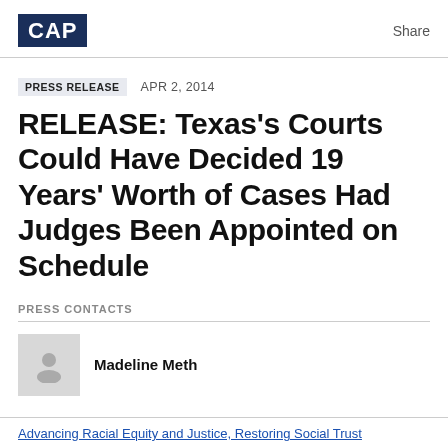CAP   Share
PRESS RELEASE   APR 2, 2014
RELEASE: Texas's Courts Could Have Decided 19 Years' Worth of Cases Had Judges Been Appointed on Schedule
PRESS CONTACTS
Madeline Meth
Advancing Racial Equity and Justice, Restoring Social Trust